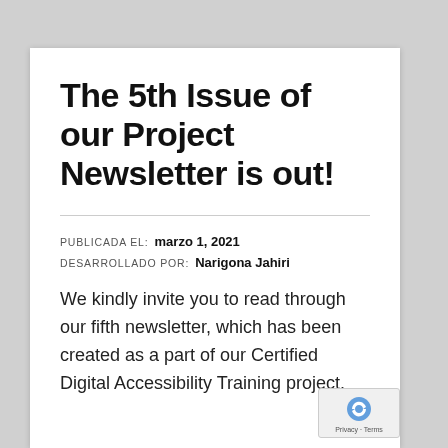The 5th Issue of our Project Newsletter is out!
PUBLICADA EL:  marzo 1, 2021
DESARROLLADO POR:  Narigona Jahiri
We kindly invite you to read through our fifth newsletter, which has been created as a part of our Certified Digital Accessibility Training project.